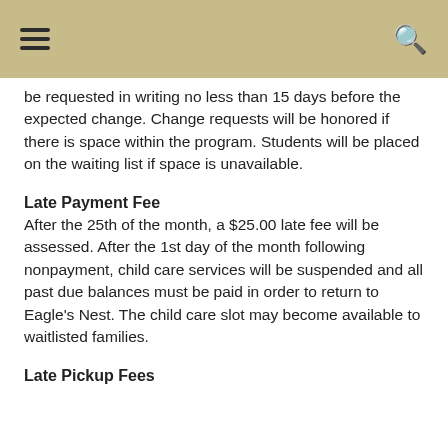be requested in writing no less than 15 days before the expected change. Change requests will be honored if there is space within the program. Students will be placed on the waiting list if space is unavailable.
Late Payment Fee
After the 25th of the month, a $25.00 late fee will be assessed. After the 1st day of the month following nonpayment, child care services will be suspended and all past due balances must be paid in order to return to Eagle's Nest. The child care slot may become available to waitlisted families.
Late Pickup Fees